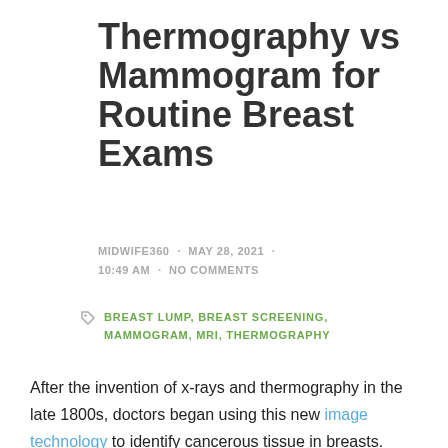Thermography vs Mammogram for Routine Breast Exams
MIDWIFE360 · MAY 28, 2021 · 10:49 AM · NO COMMENTS
BREAST LUMP, BREAST SCREENING, MAMMOGRAM, MRI, THERMOGRAPHY
After the invention of x-rays and thermography in the late 1800s, doctors began using this new image technology to identify cancerous tissue in breasts. However, it wasn't until the late 1990s that...